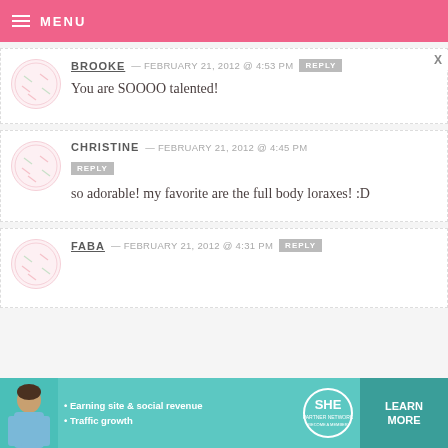MENU
BROOKE — FEBRUARY 21, 2012 @ 4:53 PM REPLY
You are SOOOO talented!
CHRISTINE — FEBRUARY 21, 2012 @ 4:45 PM REPLY
so adorable! my favorite are the full body loraxes! :D
FABA — FEBRUARY 21, 2012 @ 4:31 PM REPLY
[Figure (infographic): SHE Partner Network advertisement banner with person photo, bullet points about earning site & social revenue and traffic growth, SHE logo, and LEARN MORE button]